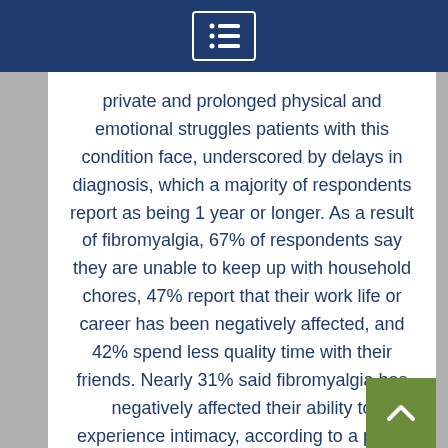Menu icon / navigation header
private and prolonged physical and emotional struggles patients with this condition face, underscored by delays in diagnosis, which a majority of respondents report as being 1 year or longer. As a result of fibromyalgia, 67% of respondents say they are unable to keep up with household chores, 47% report that their work life or career has been negatively affected, and 42% spend less quality time with their friends. Nearly 31% said fibromyalgia has negatively affected their ability to experience intimacy, according to a press release.